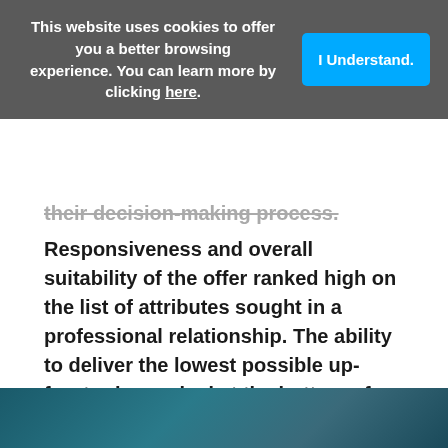This website uses cookies to offer you a better browsing experience. You can learn more by clicking here.
their decision-making process. Responsiveness and overall suitability of the offer ranked high on the list of attributes sought in a professional relationship. The ability to deliver the lowest possible up-front price ranked at the bottom of the list of attributes sought.
Click here to download the full report, What Buyers Want and How Buyers Work.
[Figure (photo): Dark teal/blue background image, partial view at the bottom of the page]